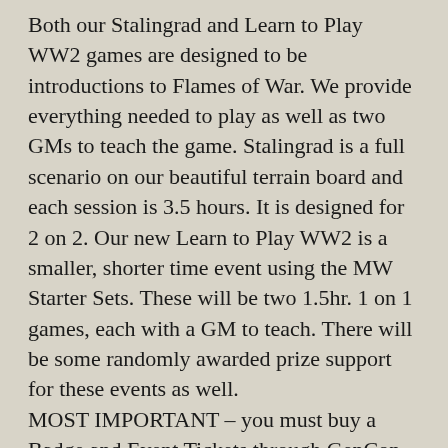Both our Stalingrad and Learn to Play WW2 games are designed to be introductions to Flames of War. We provide everything needed to play as well as two GMs to teach the game. Stalingrad is a full scenario on our beautiful terrain board and each session is 3.5 hours. It is designed for 2 on 2. Our new Learn to Play WW2 is a smaller, shorter time event using the MW Starter Sets. These will be two 1.5hr. 1 on 1 games, each with a GM to teach. There will be some randomly awarded prize support for these events as well.
MOST IMPORTANT – you must buy a Badge and Event Tickets through GenCon – www.gencon.com.